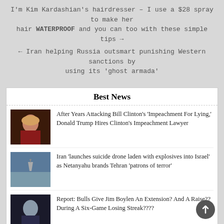I'm Kim Kardashian's hairdresser – I use a $28 spray to make her hair WATERPROOF and you can too with these simple tips →
← Iran helping Russia outsmart punishing Western sanctions by using its 'ghost armada'
Best News
After Years Attacking Bill Clinton's 'Impeachment For Lying,' Donald Trump Hires Clinton's Impeachment Lawyer
Iran 'launches suicide drone laden with explosives into Israel' as Netanyahu brands Tehran 'patrons of terror'
Report: Bulls Give Jim Boylen An Extension? And A Raise?? During A Six-Game Losing Streak????
The Real Reason Caitlyn Jenner Is Closest With Kylie Jenner Out Of All Her Children